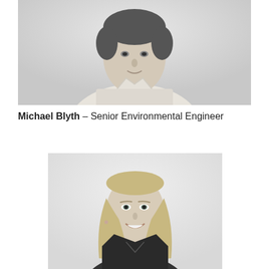[Figure (photo): Black and white headshot photo of Michael Blyth, a man in a light-colored polo shirt, cropped at the chest, photographed against a white background.]
Michael Blyth – Senior Environmental Engineer
[Figure (photo): Black and white headshot photo of a woman with shoulder-length blonde hair, smiling, wearing a dark sleeveless top, photographed against a white background.]